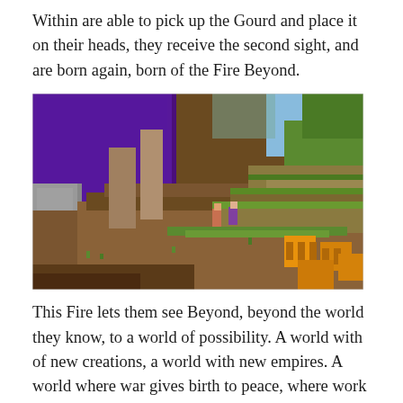Within are able to pick up the Gourd and place it on their heads, they receive the second sight, and are born again, born of the Fire Beyond.
[Figure (screenshot): A Minecraft game screenshot showing a scene with a purple nether portal on the left, earthen/dirt terrain with stone pillars, green-topped grass blocks, orange pumpkin blocks in the foreground right, and two small player or villager figures in the middle distance.]
This Fire lets them see Beyond, beyond the world they know, to a world of possibility. A world with of new creations, a world with new empires. A world where war gives birth to peace, where work gives birth to rest, where poverty gives birth to plenty,